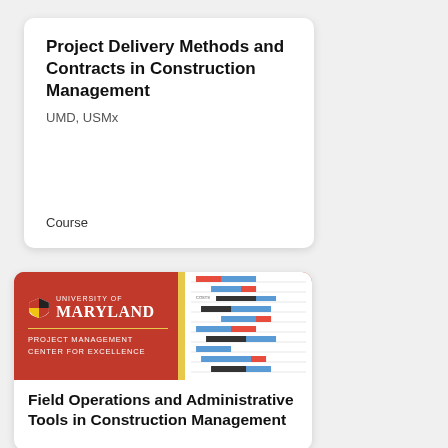Project Delivery Methods and Contracts in Construction Management
UMD, USMx
Course
[Figure (photo): University of Maryland Project Management Center for Excellence banner with Gantt chart on the right side]
Field Operations and Administrative Tools in Construction Management